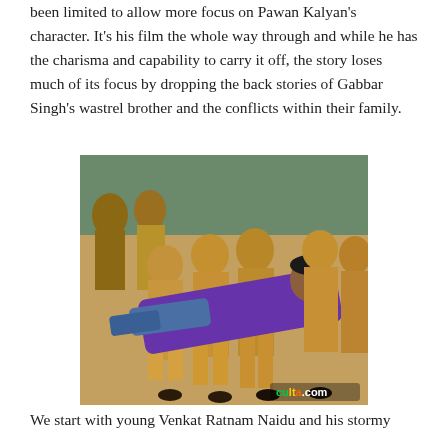been limited to allow more focus on Pawan Kalyan's character. It's his film the whole way through and while he has the charisma and capability to carry it off, the story loses much of its focus by dropping the back stories of Gabbar Singh's wastrel brother and the conflicts within their family.
[Figure (photo): A scene from a film showing a man in a purple shirt being physically carried or restrained by multiple police officers in khaki uniforms, with a crowd in the background. A 'culta.com' watermark is visible in the bottom right corner.]
We start with young Venkat Ratnam Naidu and his stormy